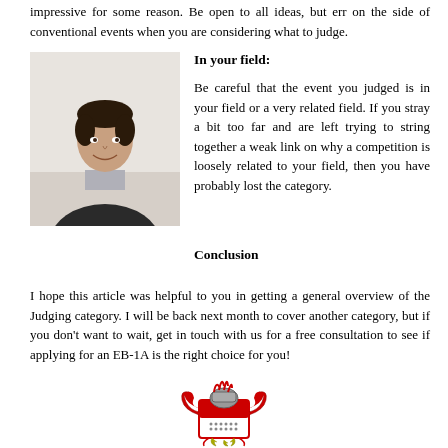impressive for some reason. Be open to all ideas, but err on the side of conventional events when you are considering what to judge.
[Figure (photo): Portrait photo of a young professional man in a suit, smiling.]
In your field:
Be careful that the event you judged is in your field or a very related field. If you stray a bit too far and are left trying to string together a weak link on why a competition is loosely related to your field, then you have probably lost the category.
Conclusion
I hope this article was helpful to you in getting a general overview of the Judging category. I will be back next month to cover another category, but if you don’t want to wait, get in touch with us for a free consultation to see if applying for an EB-1A is the right choice for you!
[Figure (logo): Heraldic coat of arms crest with red and white colors, knight helmet, shields, and ornamental scrollwork.]